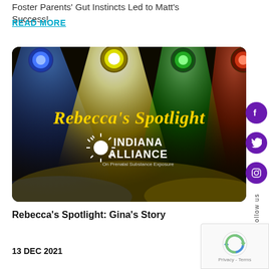Foster Parents' Gut Instincts Led to Matt's Success!
READ MORE
[Figure (photo): Rebecca's Spotlight promotional image with colorful stage lights (blue, yellow/white, green, red) and fog/smoke effect. Text overlay reads 'Rebecca's Spotlight' in yellow cursive script. Below is the Indiana Alliance on Prenatal Substance Exposure logo with a sun icon and text 'On Prenatal Substance Exposure'.]
Rebecca's Spotlight: Gina's Story
13 DEC 2021